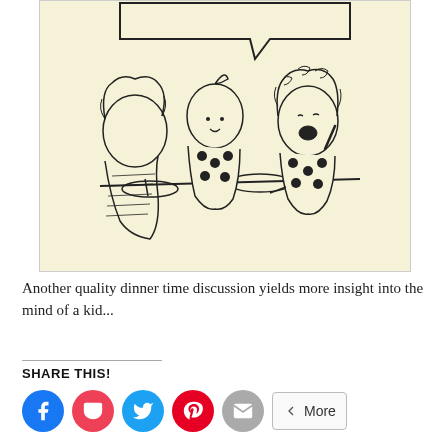[Figure (illustration): A black-and-white cartoon sketch on a pale yellow background showing three figures seated at a dinner table. A child on the right is pointing a finger up and speaking (with a speech bubble cut off at the top). A woman in a polka-dot top sits in the middle, and another figure is on the left. Plates and a can are visible on the table.]
Another quality dinner time discussion yields more insight into the mind of a kid...
SHARE THIS!
Facebook, Pocket, Twitter, Pinterest, Email, More